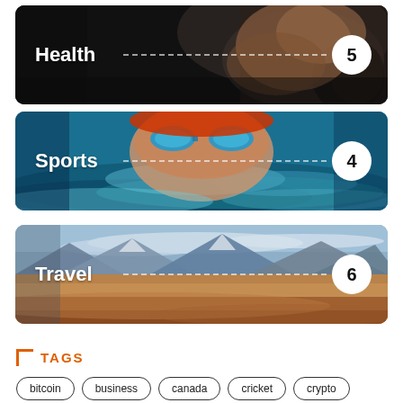[Figure (photo): Health category card with gym/weightlifting dark background, label 'Health' and number badge '5']
[Figure (photo): Sports category card with swimmer in pool background, label 'Sports' and number badge '4']
[Figure (photo): Travel category card with desert landscape background, label 'Travel' and number badge '6']
TAGS
bitcoin
business
canada
cricket
crypto
desert
died
drink
drinks
fashion
food